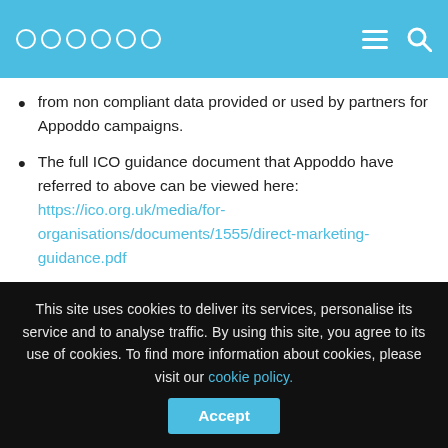Appoddo header navigation
from non compliant data provided or used by partners for Appoddo campaigns.
The full ICO guidance document that Appoddo have referred to above can be viewed here: https://ico.org.uk/media/for-organisations/documents/1555/direct-marketing-guidance.pdf
This site uses cookies to deliver its services, personalise its service and to analyse traffic. By using this site, you agree to its use of cookies. To find more information about cookies, please visit our cookie policy. Accept